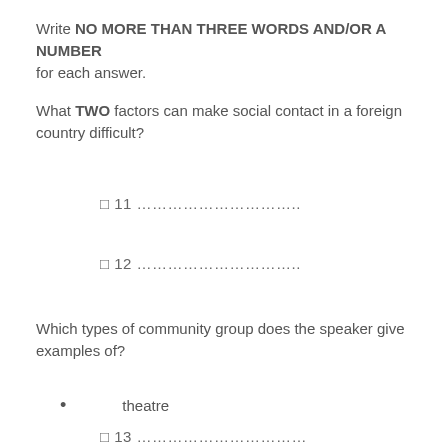Write NO MORE THAN THREE WORDS AND/OR A NUMBER for each answer.
What TWO factors can make social contact in a foreign country difficult?
⁰ 11 ………………………….
⁰ 12 ………………………….
Which types of community group does the speaker give examples of?
• theatre
⁰ 13 ……………………………
⁰ 14 ……………………………